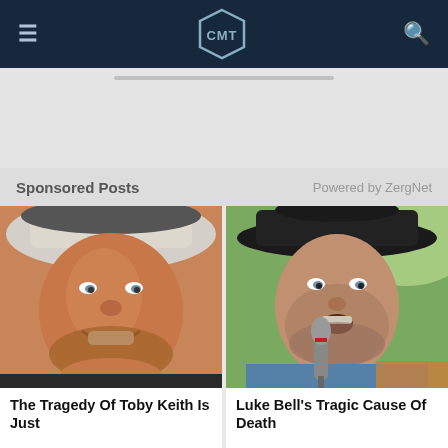CMT
[Figure (screenshot): Gray advertisement placeholder area with a thin horizontal bar]
Sponsored Posts	Powered by ZergNet
[Figure (photo): Photo of Toby Keith smiling, wearing a cowboy hat and bandana]
The Tragedy Of Toby Keith Is Just
[Figure (photo): Photo of Luke Bell singing into a microphone, wearing a black cowboy hat]
Luke Bell's Tragic Cause Of Death